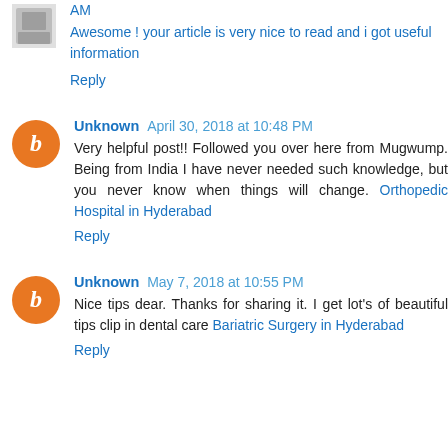AM
Awesome ! your article is very nice to read and i got useful information
Reply
Unknown April 30, 2018 at 10:48 PM
Very helpful post!! Followed you over here from Mugwump. Being from India I have never needed such knowledge, but you never know when things will change. Orthopedic Hospital in Hyderabad
Reply
Unknown May 7, 2018 at 10:55 PM
Nice tips dear. Thanks for sharing it. I get lot's of beautiful tips clip in dental care Bariatric Surgery in Hyderabad
Reply